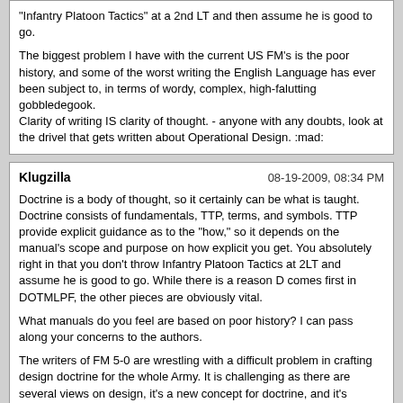"Infantry Platoon Tactics" at a 2nd LT and then assume he is good to go.

The biggest problem I have with the current US FM's is the poor history, and some of the worst writing the English Language has ever been subject to, in terms of wordy, complex, high-falutting gobbledegook.
Clarity of writing IS clarity of thought. - anyone with any doubts, look at the drivel that gets written about Operational Design. :mad:
Klugzilla
08-19-2009, 08:34 PM
Doctrine is a body of thought, so it certainly can be what is taught. Doctrine consists of fundamentals, TTP, terms, and symbols. TTP provide explicit guidance as to the "how," so it depends on the manual's scope and purpose on how explicit you get. You absolutely right in that you don't throw Infantry Platoon Tactics at 2LT and assume he is good to go. While there is a reason D comes first in DOTMLPF, the other pieces are obviously vital.

What manuals do you feel are based on poor history? I can pass along your concerns to the authors.

The writers of FM 5-0 are wrestling with a difficult problem in crafting design doctrine for the whole Army. It is challenging as there are several views on design, it's a new concept for doctrine, and it's complex.
Ursus horribilis toklat
08-19-2009, 09:46 PM
Klugzilla asked "what manuals do you feel are based on poor history? I can pass along your concerns to the authors."

Answer: Notably absent from recent draft field manuals written by authors at CADD are quotes from key leaders past and present and historical vignettes or other historical reference to illustrate the application of a doctrinal principle. Examples include the initial draft of FM 6-0, Mission Command: Command and Control of Army Forces, 24 July 2009 (shortened to 209 pages); the revised final draft of FM 5-0, The Operations Process, 5 June 2009(shortened to 268 pages) and the DRAG draft of FM 3-92, Corps Operations, 7 August 2009